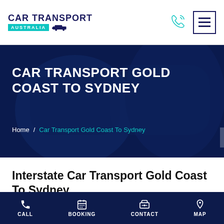[Figure (logo): Car Transport Australia logo with teal accent bar and car silhouette icon]
CAR TRANSPORT GOLD COAST TO SYDNEY
Home / Car Transport Gold Coast To Sydney
Interstate Car Transport Gold Coast To Sydney
Are you looking for a reputed vehicle transport company to
CALL   BOOKING   CONTACT   MAP